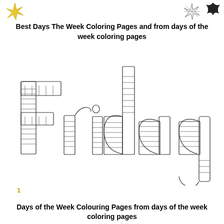[decorative star icons at top]
Best Days The Week Coloring Pages and from days of the week coloring pages
[Figure (illustration): Large decorative coloring-page style word 'Friday' in outlined block letters with horizontal stripe patterns inside each letter, suitable for children to color in.]
1
Days of the Week Colouring Pages from days of the week coloring pages